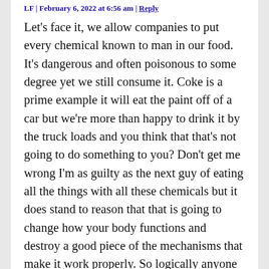LF | February 6, 2022 at 6:56 am | Reply
Let's face it, we allow companies to put every chemical known to man in our food. It's dangerous and often poisonous to some degree yet we still consume it. Coke is a prime example it will eat the paint off of a car but we're more than happy to drink it by the truck loads and you think that that's not going to do something to you? Don't get me wrong I'm as guilty as the next guy of eating all the things with all these chemicals but it does stand to reason that that is going to change how your body functions and destroy a good piece of the mechanisms that make it work properly. So logically anyone with half a brain can see this is the real cause for obesity. Everything is a chain reaction